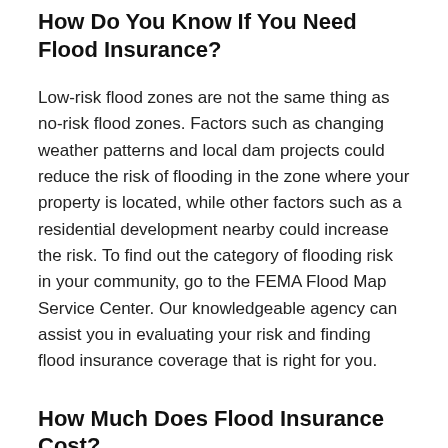How Do You Know If You Need Flood Insurance?
Low-risk flood zones are not the same thing as no-risk flood zones. Factors such as changing weather patterns and local dam projects could reduce the risk of flooding in the zone where your property is located, while other factors such as a residential development nearby could increase the risk. To find out the category of flooding risk in your community, go to the FEMA Flood Map Service Center. Our knowledgeable agency can assist you in evaluating your risk and finding flood insurance coverage that is right for you.
How Much Does Flood Insurance Cost?